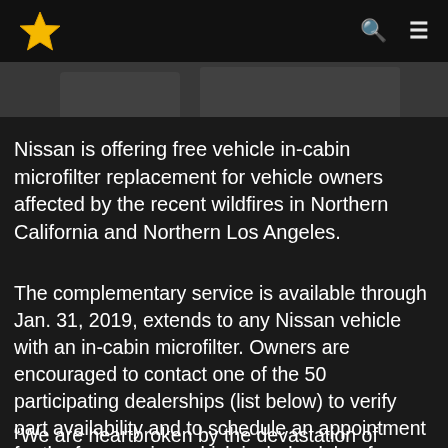Navigation bar with star logo, search and menu icons
[Figure (photo): Partial photo of a vehicle interior, cropped at top of page]
Nissan is offering free vehicle in-cabin microfilter replacement for vehicle owners affected by the recent wildfires in Northern California and Northern Los Angeles.
The complementary service is available through Jan. 31, 2019, extends to any Nissan vehicle with an in-cabin microfilter. Owners are encouraged to contact one of the 50 participating dealerships (list below) to verify part availability and to schedule an appointment for the free service, which includes labor for installation and inspection.
“We are heartbroken by the devastation of